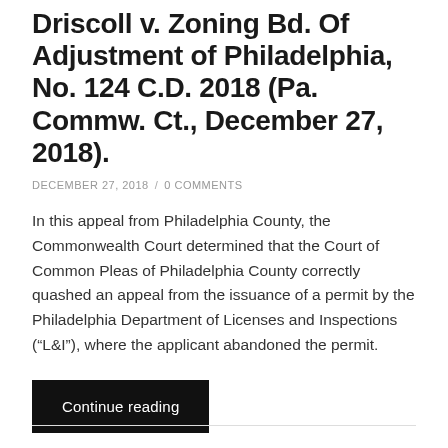Driscoll v. Zoning Bd. Of Adjustment of Philadelphia, No. 124 C.D. 2018 (Pa. Commw. Ct., December 27, 2018).
DECEMBER 27, 2018 / 0 COMMENTS
In this appeal from Philadelphia County, the Commonwealth Court determined that the Court of Common Pleas of Philadelphia County correctly quashed an appeal from the issuance of a permit by the Philadelphia Department of Licenses and Inspections (“L&I”), where the applicant abandoned the permit.
Continue reading